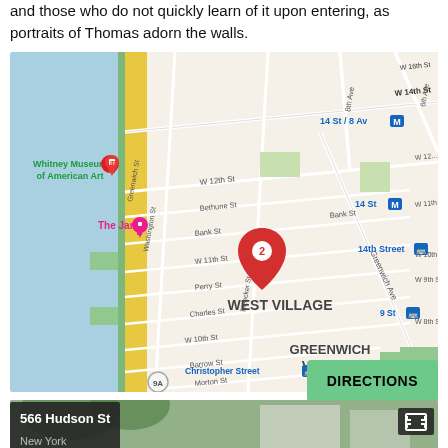and those who do not quickly learn of it upon entering, as portraits of Thomas adorn the walls.
[Figure (map): Google Maps screenshot showing the West Village and Greenwich Village neighborhood in New York City. A red pin marker labeled '2' is placed near Bleecker St. Landmarks shown include Whitney Museum of American Art, The Jane hotel, 14 St/8 Av subway, 14th Street station, Christopher Street station, 9 St station, John's of Bleecker St restaurant. Streets visible include W 14th St, W 12th St, Bethune St, Bank St, W 11th St, Perry St, Charles St, W 10th St, Barrow St, Morton St, 8th Ave, Greenwich Ave, Bleecker St, and others.]
DIRECTIONS
566 Hudson St
New York